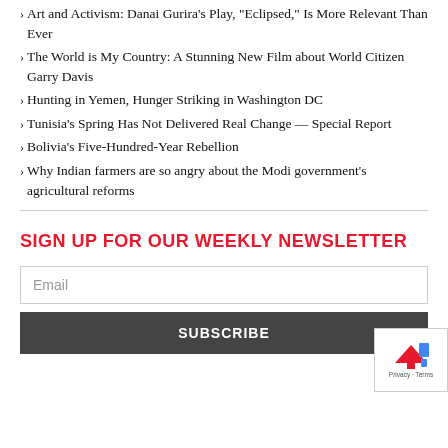Art and Activism: Danai Gurira’s Play, “Eclipsed,” Is More Relevant Than Ever
The World is My Country: A Stunning New Film about World Citizen Garry Davis
Hunting in Yemen, Hunger Striking in Washington DC
Tunisia’s Spring Has Not Delivered Real Change — Special Report
Bolivia’s Five-Hundred-Year Rebellion
Why Indian farmers are so angry about the Modi government’s agricultural reforms
SIGN UP FOR OUR WEEKLY NEWSLETTER